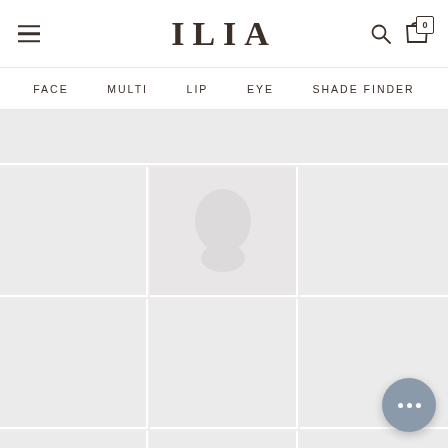ILIA
FACE  MULTI  LIP  EYE  SHADE FINDER
[Figure (screenshot): E-commerce website product grid for ILIA beauty brand showing loading placeholder tiles in a 3-column grid layout with a banner row at top and partially visible bottom row]